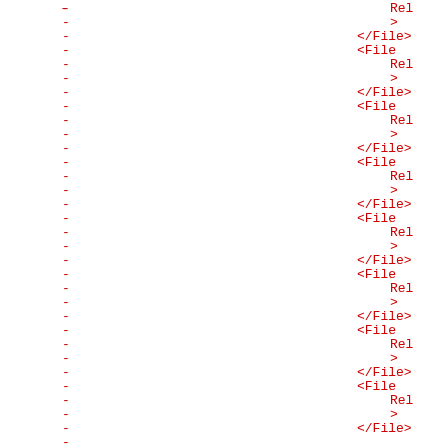Code listing showing repeated XML File elements with Rel attribute and closing tags, with dash markers on the left side. Pattern repeats: > (continued), </File>, <File, Rel, >, </File>, <File, Rel, >, </File> x7 times.